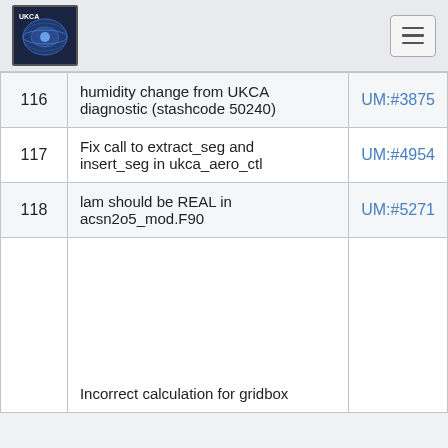UKCA
| # | Description | Ticket |
| --- | --- | --- |
| 116 | humidity change from UKCA diagnostic (stashcode 50240) | UM:#3875 |
| 117 | Fix call to extract_seg and insert_seg in ukca_aero_ctl | UM:#4954 |
| 118 | lam should be REAL in acsn2o5_mod.F90 | UM:#5271 |
|  | Incorrect calculation for gridbox |  |